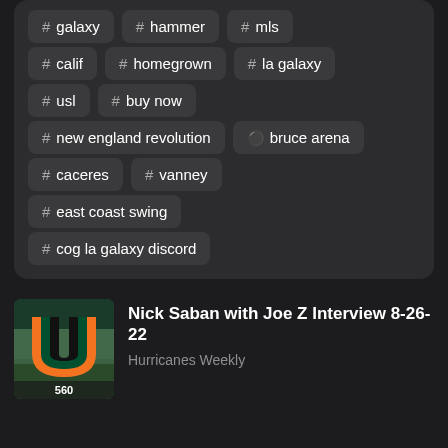# galaxy
# hammer
# mls
# calif
# homegrown
# la galaxy
# usl
# buy now
# new england revolution
person bruce arena
# caceres
# vanney
# east coast swing
# cog la galaxy discord
[Figure (logo): Miami Hurricanes logo - orange and green U on stadium background with 560 text]
Nick Saban with Joe Z Interview 8-26-22
Hurricanes Weekly